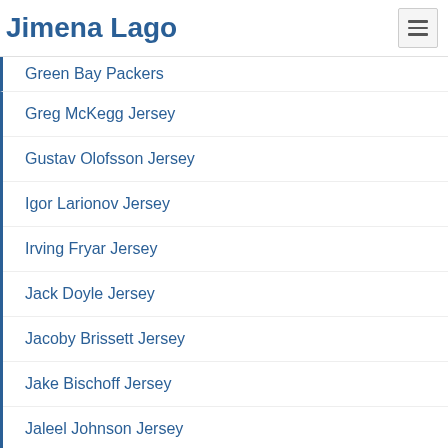Jimena Lago
Green Bay Packers
Greg McKegg Jersey
Gustav Olofsson Jersey
Igor Larionov Jersey
Irving Fryar Jersey
Jack Doyle Jersey
Jacoby Brissett Jersey
Jake Bischoff Jersey
Jaleel Johnson Jersey
Jamal Adams Jersey